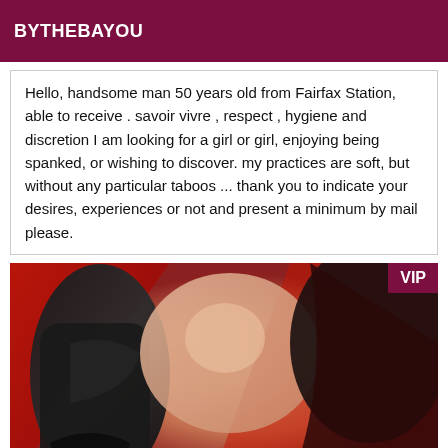BYTHEBAYOU
Hello, handsome man 50 years old from Fairfax Station, able to receive . savoir vivre , respect , hygiene and discretion I am looking for a girl or girl, enjoying being spanked, or wishing to discover. my practices are soft, but without any particular taboos ... thank you to indicate your desires, experiences or not and present a minimum by mail please.
[Figure (photo): Close-up photo of a person in dark lingerie and high-heeled boots with red background, with a VIP badge in the top right corner.]